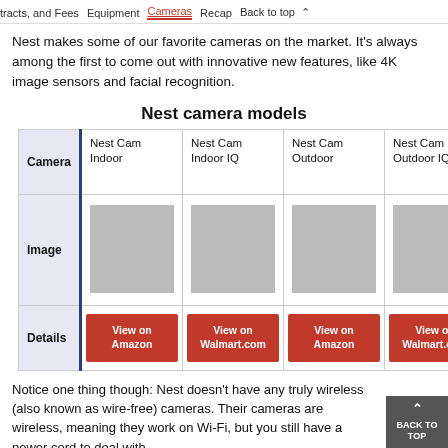tracts, and Fees   Equipment   Cameras   Recap   Back to top
Nest makes some of our favorite cameras on the market. It's always among the first to come out with innovative new features, like 4K image sensors and facial recognition.
Nest camera models
| Camera | Nest Cam Indoor | Nest Cam Indoor IQ | Nest Cam Outdoor | Nest Cam Outdoor IQ |
| --- | --- | --- | --- | --- |
| Image | [image] | [image] | [image] | [image] |
| Details | View on Amazon | View on Walmart.com | View on Amazon | View on Walmart.com |
Notice one thing though: Nest doesn't have any truly wireless (also known as wire-free) cameras. Their cameras are wireless, meaning they work on Wi-Fi, but you still have a power cord to deal with